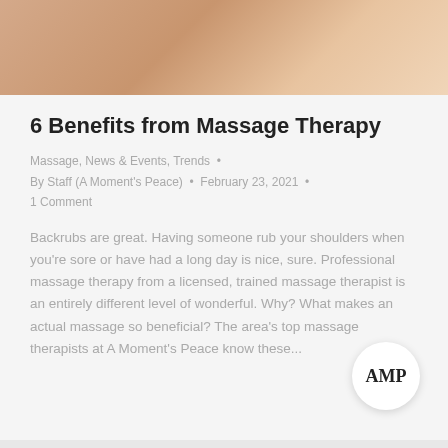[Figure (photo): Close-up photo of a person's skin/shoulder area, pinkish-beige tones, used as a banner image at the top of the article.]
6 Benefits from Massage Therapy
Massage, News & Events, Trends  •
By Staff (A Moment's Peace)  •  February 23, 2021  •
1 Comment
Backrubs are great. Having someone rub your shoulders when you're sore or have had a long day is nice, sure. Professional massage therapy from a licensed, trained massage therapist is an entirely different level of wonderful. Why? What makes an actual massage so beneficial? The area's top massage therapists at A Moment's Peace know these...